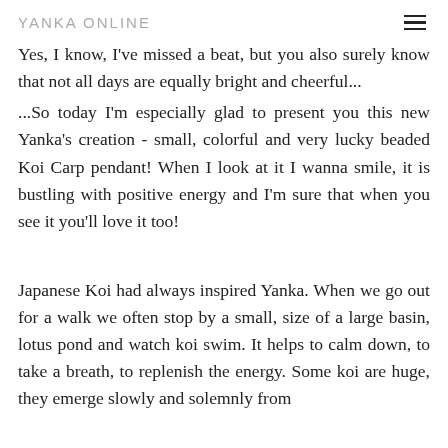YANKA ONLINE
Yes, I know, I've missed a beat, but you also surely know that not all days are equally bright and cheerful... ...So today I'm especially glad to present you this new Yanka's creation - small, colorful and very lucky beaded Koi Carp pendant! When I look at it I wanna smile, it is bustling with positive energy and I'm sure that when you see it you'll love it too!
Japanese Koi had always inspired Yanka. When we go out for a walk we often stop by a small, size of a large basin, lotus pond and watch koi swim. It helps to calm down, to take a breath, to replenish the energy. Some koi are huge, they emerge slowly and solemnly from